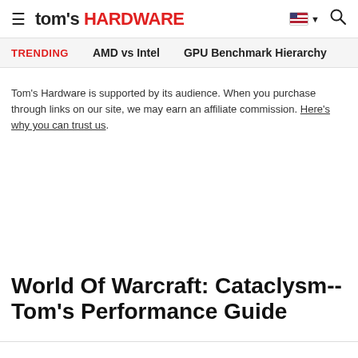tom's HARDWARE
TRENDING   AMD vs Intel   GPU Benchmark Hierarchy
Tom's Hardware is supported by its audience. When you purchase through links on our site, we may earn an affiliate commission. Here's why you can trust us.
World Of Warcraft: Cataclysm-- Tom's Performance Guide